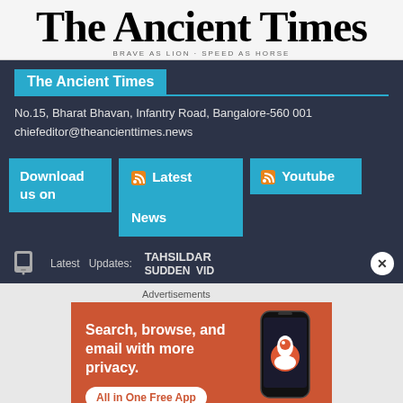The Ancient Times
The Ancient Times
No.15, Bharat Bhavan, Infantry Road, Bangalore-560 001
chiefeditor@theancienttimes.news
Download us on
Latest News
Youtube
Latest   Updates:   TAHSILDAR  SUDDEN  VID
Advertisements
[Figure (infographic): DuckDuckGo advertisement: orange background with phone showing DuckDuckGo app. Text: Search, browse, and email with more privacy. All in One Free App. DuckDuckGo.]